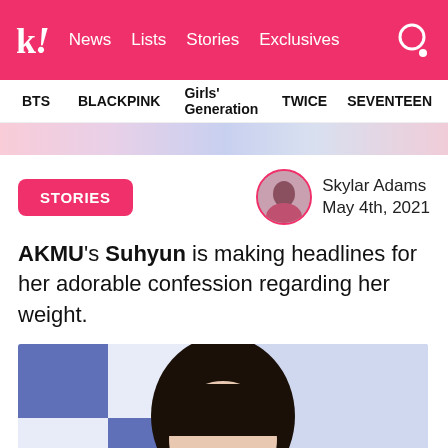k! News Lists Stories Exclusives
BTS  BLACKPINK  Girls' Generation  TWICE  SEVENTEEN
STORIES
Skylar Adams
May 4th, 2021
AKMU's Suhyun is making headlines for her adorable confession regarding her weight.
[Figure (photo): Photo of AKMU's Suhyun with bangs, in front of a blue and white checkered background]